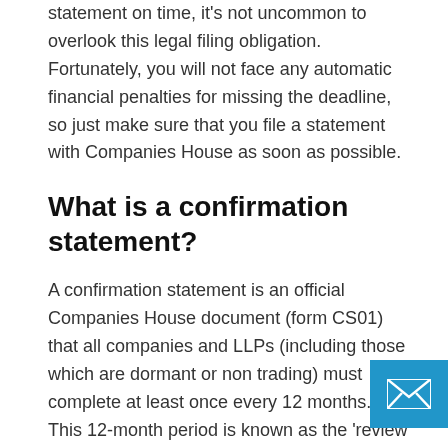statement on time, it's not uncommon to overlook this legal filing obligation. Fortunately, you will not face any automatic financial penalties for missing the deadline, so just make sure that you file a statement with Companies House as soon as possible.
What is a confirmation statement?
A confirmation statement is an official Companies House document (form CS01) that all companies and LLPs (including those which are dormant or non trading) must complete at least once every 12 months. This 12-month period is known as the 'review period'.
The purpose of a confirmation statement (previously called an 'annual return') is to 'check and confirm' that Companies House holds the correct information ab...